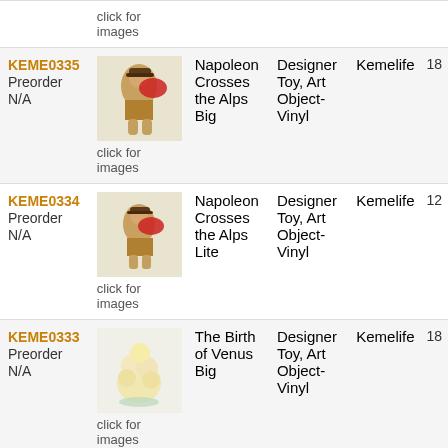| ID/Status | Image | Name | Category | Brand | Num |
| --- | --- | --- | --- | --- | --- |
| KEME0335
Preorder
N/A | click for images | Napoleon Crosses the Alps Big | Designer Toy, Art Object-Vinyl | Kemelife | 18 |
| KEME0334
Preorder
N/A | click for images | Napoleon Crosses the Alps Lite | Designer Toy, Art Object-Vinyl | Kemelife | 12 |
| KEME0333
Preorder
N/A | click for images | The Birth of Venus Big | Designer Toy, Art Object-Vinyl | Kemelife | 18 |
| KEME0332
Preorder
N/A | click for images | The Birth of Venus Lite | Designer Toy, Art Object-Vinyl | Kemelife | 11 |